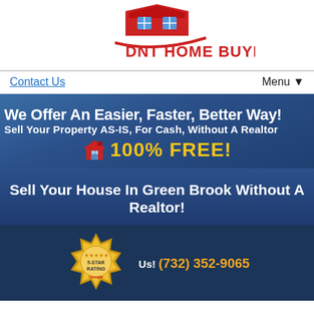[Figure (logo): DNT Home Buyers logo with red house icon and swoosh]
Contact Us
Menu ▼
We Offer An Easier, Faster, Better Way!
Sell Your Property AS-IS, For Cash, Without A Realtor
100% FREE!
Sell Your House In Green Brook Without A Realtor!
[Figure (illustration): Gold 5-Star Rating badge with Google logo]
Us! (732) 352-9065